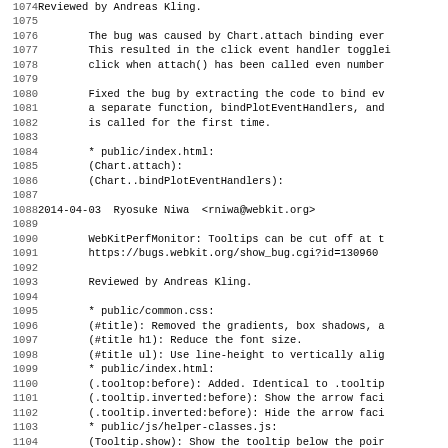Code listing lines 1074-1106 showing ChangeLog entries for WebKit repository
| line | content |
| --- | --- |
| 1074 | Reviewed by Andreas Kling. |
| 1075 |  |
| 1076 | The bug was caused by Chart.attach binding ever |
| 1077 | This resulted in the click event handler togglei |
| 1078 | click when attach() has been called even number |
| 1079 |  |
| 1080 | Fixed the bug by extracting the code to bind ev |
| 1081 | a separate function, bindPlotEventHandlers, and |
| 1082 | is called for the first time. |
| 1083 |  |
| 1084 | * public/index.html: |
| 1085 | (Chart.attach): |
| 1086 | (Chart..bindPlotEventHandlers): |
| 1087 |  |
| 1088 | 2014-04-03  Ryosuke Niwa  <rniwa@webkit.org> |
| 1089 |  |
| 1090 | WebKitPerfMonitor: Tooltips can be cut off at t |
| 1091 | https://bugs.webkit.org/show_bug.cgi?id=130960 |
| 1092 |  |
| 1093 | Reviewed by Andreas Kling. |
| 1094 |  |
| 1095 | * public/common.css: |
| 1096 | (#title): Removed the gradients, box shadows, a |
| 1097 | (#title h1): Reduce the font size. |
| 1098 | (#title ul): Use line-height to vertically alig |
| 1099 | * public/index.html: |
| 1100 | (.tooltop:before): Added. Identical to .tooltip |
| 1101 | (.tooltip.inverted:before): Show the arrow faci |
| 1102 | (.tooltip.inverted:before): Hide the arrow faci |
| 1103 | * public/js/helper-classes.js: |
| 1104 | (Tooltip.show): Show the tooltip below the poir |
| 1105 | tooltip extending above y=0. |
| 1106 |  |